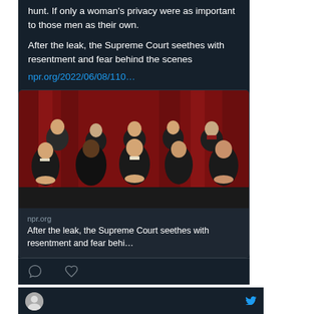hunt. If only a woman's privacy were as important to those men as their own.
After the leak, the Supreme Court seethes with resentment and fear behind the scenes
npr.org/2022/06/08/110…
[Figure (photo): Official portrait photo of the nine Supreme Court Justices seated and standing in two rows in front of red curtains, wearing black robes]
npr.org
After the leak, the Supreme Court seethes with resentment and fear behi…
[Figure (other): Tweet action icons: comment bubble and heart (like) icons]